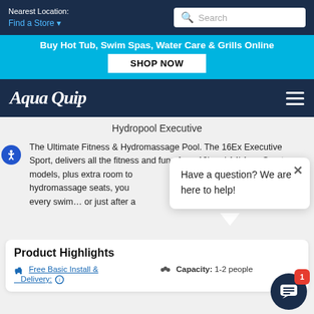Nearest Location: Find a Store
Buy Hot Tub, Swim Spas, Water Care & Grills Online
SHOP NOW
[Figure (logo): AquaQuip logo in white italic text on dark navy background]
Hydropool Executive
The Ultimate Fitness & Hydromassage Pool. The 16Ex Executive Sport, delivers all the fitness and fun of our 12' and 14' AquaSport models, plus extra room to... hydromassage seats, you... every swim… or just after a...
Have a question? We are here to help!
Product Highlights
Free Basic Install & Delivery:
Capacity: 1-2 people